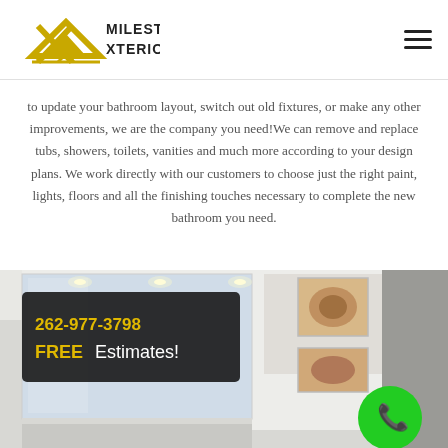[Figure (logo): Milestone Xteriors logo with gold chevron/X graphic and bold text]
to update your bathroom layout, switch out old fixtures, or make any other improvements, we are the company you need!We can remove and replace tubs, showers, toilets, vanities and much more according to your design plans. We work directly with our customers to choose just the right paint, lights, floors and all the finishing touches necessary to complete the new bathroom you need.
[Figure (photo): Modern bathroom interior with large mirror, recessed lighting, artwork on wall, and dark overlay box showing phone number 262-977-3798 and FREE Estimates!, plus green phone bubble icon in bottom right]